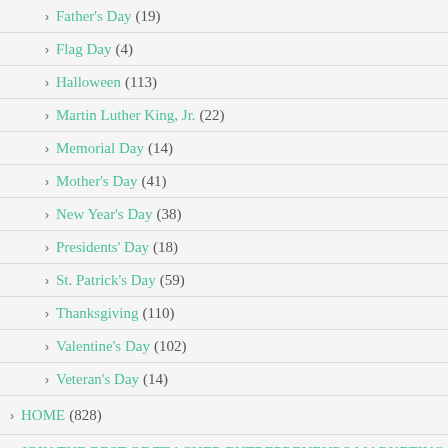Father's Day (19)
Flag Day (4)
Halloween (113)
Martin Luther King, Jr. (22)
Memorial Day (14)
Mother's Day (41)
New Year's Day (38)
Presidents' Day (18)
St. Patrick's Day (59)
Thanksgiving (110)
Valentine's Day (102)
Veteran's Day (14)
HOME (828)
JOIN THE BEST OF TEACHER ENTREPRENEURS MARKETING COOPERATIVE (8)
LANGUAGE ARTS LESSONS (3,467)
MATH LESSONS (773)